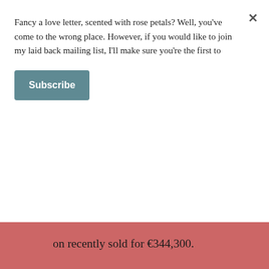on recently sold for €344,300.  That's some indication as to the importance we give a writer's creative perch.  Writers and readers alike are enchanted by the idea of where a book was conceived, convincing themselves that even the chair they sat on must be oozing with literary genius.  There's something romantic about it
Fancy a love letter, scented with rose petals? Well, you've come to the wrong place. However, if you would like to join my laid back mailing list, I'll make sure you're the first to
Subscribe